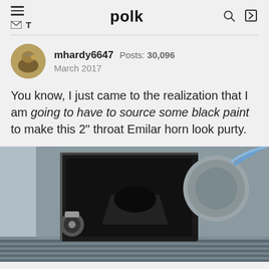polk
mhardy6647   Posts: 30,096
March 2017
You know, I just came to the realization that I am going to have to source some black paint to make this 2" throat Emilar horn look purty.
[Figure (photo): Close-up photo of a black rectangular Emilar horn speaker, front view showing the throat opening, with a cylindrical driver behind it and some cables visible, placed on a surface with a striped cloth.]